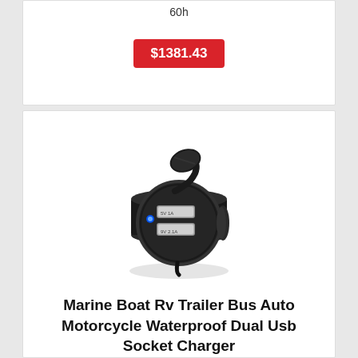60h
$1381.43
[Figure (photo): Marine dual USB socket charger with two USB ports labeled 5V 1A and 9V 2.1A, with a blue LED indicator, housed in a circular black waterproof mount with a flip cover on top]
Marine Boat Rv Trailer Bus Auto Motorcycle Waterproof Dual Usb Socket Charger